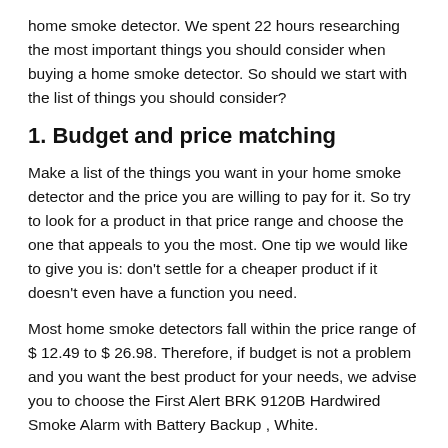home smoke detector. We spent 22 hours researching the most important things you should consider when buying a home smoke detector. So should we start with the list of things you should consider?
1. Budget and price matching
Make a list of the things you want in your home smoke detector and the price you are willing to pay for it. So try to look for a product in that price range and choose the one that appeals to you the most. One tip we would like to give you is: don't settle for a cheaper product if it doesn't even have a function you need.
Most home smoke detectors fall within the price range of $ 12.49 to $ 26.98. Therefore, if budget is not a problem and you want the best product for your needs, we advise you to choose the First Alert BRK 9120B Hardwired Smoke Alarm with Battery Backup , White.
If you want something medium range, choose Kidde